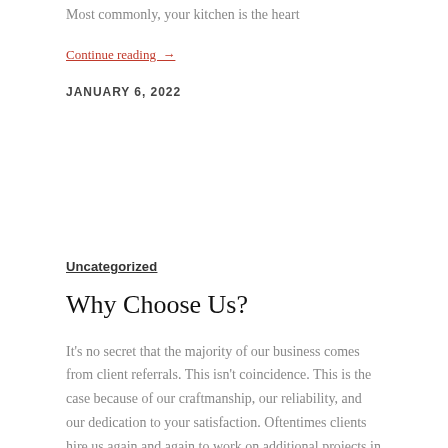Most commonly, your kitchen is the heart
Continue reading →
JANUARY 6, 2022
Uncategorized
Why Choose Us?
It's no secret that the majority of our business comes from client referrals. This isn't coincidence. This is the case because of our craftmanship, our reliability, and our dedication to your satisfaction. Oftentimes clients hire us again and again to work on additional projects in their homes. Although our work speaks for itself, we're honored